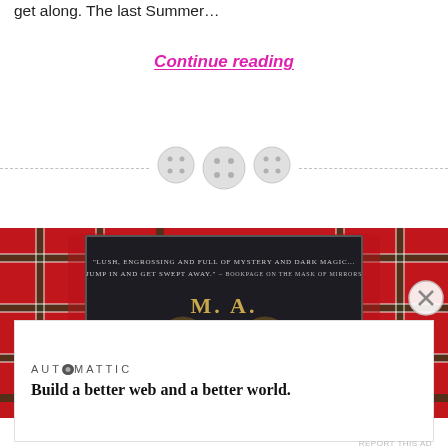get along. The last Summer…
Continue reading
[Figure (illustration): Three circular button icons arranged horizontally on a dashed horizontal divider line]
[Figure (photo): Book cover of M.A. Carrick displayed on red tartan/plaid fabric background. The book cover is dark with gold text reading M. A. CARRICK and a quote: 'LUSH, ENGROSSING AND FULL OF MYSTERY AND DARK MAGIC... JUMP IN AND GET SWEPT AWAY.' - BOOKPAGE ON THE MASK OF MIRRORS]
Advertisements
[Figure (logo): Automattic logo with the stylized letter O]
Build a better web and a better world.
REPORT THIS AD